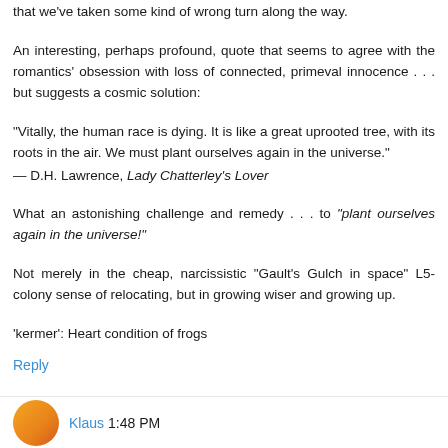that we've taken some kind of wrong turn along the way.
An interesting, perhaps profound, quote that seems to agree with the romantics' obsession with loss of connected, primeval innocence . . . but suggests a cosmic solution:
“Vitally, the human race is dying. It is like a great uprooted tree, with its roots in the air. We must plant ourselves again in the universe.”
— D.H. Lawrence, Lady Chatterley's Lover
What an astonishing challenge and remedy . . . to “plant ourselves again in the universe!”
Not merely in the cheap, narcissistic "Gault's Gulch in space" L5-colony sense of relocating, but in growing wiser and growing up.
'kermer': Heart condition of frogs
Reply
Klaus 1:48 PM